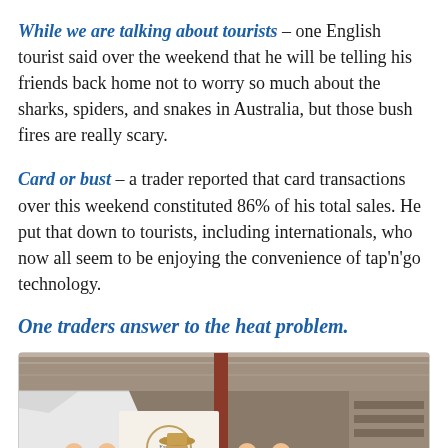While we are talking about tourists – one English tourist said over the weekend that he will be telling his friends back home not to worry so much about the sharks, spiders, and snakes in Australia, but those bush fires are really scary.
Card or bust – a trader reported that card transactions over this weekend constituted 86% of his total sales. He put that down to tourists, including internationals, who now all seem to be enjoying the convenience of tap'n'go technology.
One traders answer to the heat problem.
[Figure (photo): Group photo of five people (four women and one man in a hat) standing at a market stall with a white tent and a banner visible in the background, inside what appears to be a market hall.]